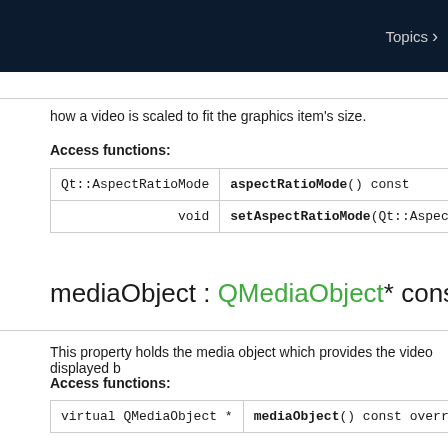Topics >
how a video is scaled to fit the graphics item's size.
Access functions:
|  |  |
| --- | --- |
| Qt::AspectRatioMode | aspectRatioMode() const |
| void | setAspectRatioMode(Qt::AspectRatioMode mod |
mediaObject : QMediaObject* const
This property holds the media object which provides the video displayed b
Access functions:
|  |  |
| --- | --- |
| virtual QMediaObject * | mediaObject() const override |